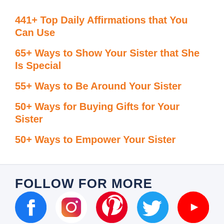441+ Top Daily Affirmations that You Can Use
65+ Ways to Show Your Sister that She Is Special
55+ Ways to Be Around Your Sister
50+ Ways for Buying Gifts for Your Sister
50+ Ways to Empower Your Sister
FOLLOW FOR MORE
[Figure (infographic): Social media icons: Facebook (blue), Instagram (dark pink circle), Pinterest (red P), Twitter (blue bird), YouTube (red play button)]